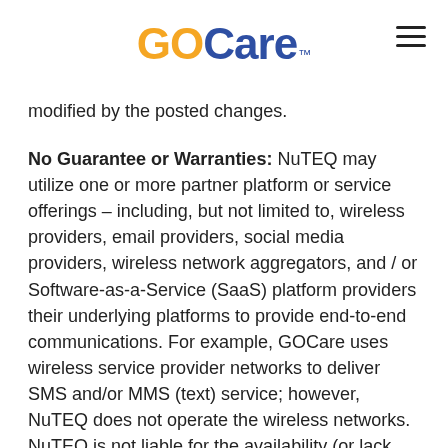GOCare™
modified by the posted changes.
No Guarantee or Warranties: NuTEQ may utilize one or more partner platform or service offerings – including, but not limited to, wireless providers, email providers, social media providers, wireless network aggregators, and / or Software-as-a-Service (SaaS) platform providers their underlying platforms to provide end-to-end communications. For example, GOCare uses wireless service provider networks to deliver SMS and/or MMS (text) service; however, NuTEQ does not operate the wireless networks. NuTEQ is not liable for the availability (or lack thereof) of wireless network coverage, the failure of the wireless networks to